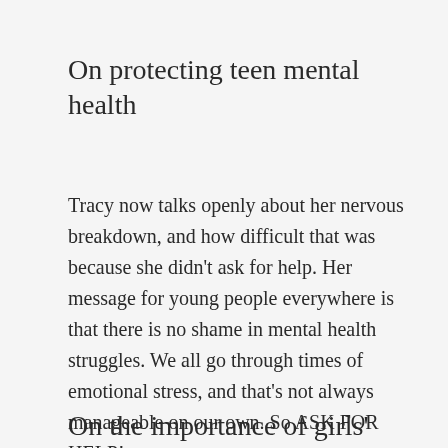On protecting teen mental health
Tracy now talks openly about her nervous breakdown, and how difficult that was because she didn't ask for help. Her message for young people everywhere is that there is no shame in mental health struggles. We all go through times of emotional stress, and that's not always manageable on our own. So ASK FOR HELP!
On the importance of girls'